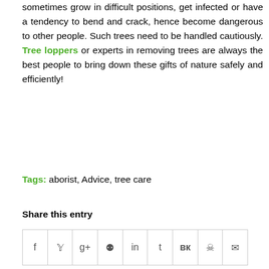sometimes grow in difficult positions, get infected or have a tendency to bend and crack, hence become dangerous to other people. Such trees need to be handled cautiously. Tree loppers or experts in removing trees are always the best people to bring down these gifts of nature safely and efficiently!
Tags: aborist, Advice, tree care
Share this entry
[Figure (other): Social share buttons row: Facebook (f), Twitter (bird/y), Google+ (g+), Pinterest (p), LinkedIn (in), Tumblr (t), VK (vk), Reddit (alien icon), Email (envelope)]